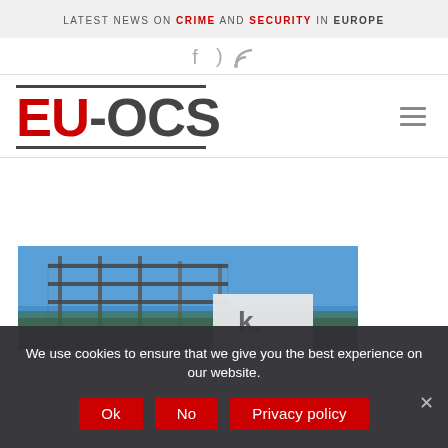LATEST NEWS ON CRIME AND SECURITY IN EUROPE
[Figure (logo): EU-OCS website logo with red EU and dark grey -OCS text, bold, with horizontal bars above and below]
[Figure (photo): Photo of a building with metal fencing/railing against a blue sky, with partial text visible on a sign]
We use cookies to ensure that we give you the best experience on our website.